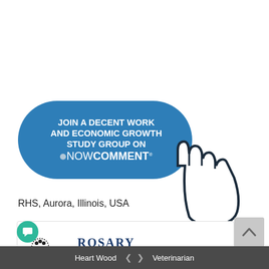[Figure (infographic): Blue pill-shaped button with text 'JOIN A DECENT WORK AND ECONOMIC GROWTH STUDY GROUP ON NOWCOMMENT' with a hand/cursor pointer icon on the right side]
RHS, Aurora, Illinois, USA
[Figure (screenshot): Partial card with number 5, a decorative icon with dots, and the beginning of a Rosary logo/text]
[Figure (infographic): Grey scroll-up button with upward chevron arrow]
Heart Wood < > Veterinarian